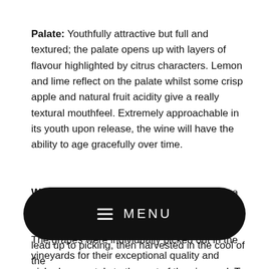Palate: Youthfully attractive but full and textured; the palate opens up with layers of flavour highlighted by citrus characters. Lemon and lime reflect on the palate whilst some crisp apple and natural fruit acidity give a really textural mouthfeel. Extremely approachable in its youth upon release, the wine will have the ability to age gracefully over time.
Winemaking: The Riesling is sourced from a single vineyard in the cool climate, high altitude region of Eden Valley in the Barossa ranges. The grapes were individually picked out in the vineyards for their exceptional quality and picked separately to the rest of the vineyard. To ensure the grapes were harvested at
lead up to picking, then harvested in the cool of the